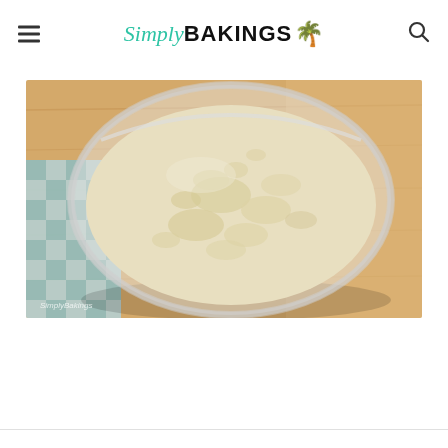Simply BAKINGS
[Figure (photo): A glass bowl containing a creamy, lumpy banana bread batter placed on a wooden cutting board with a blue and white checkered cloth napkin. The bowl is clear glass and the batter is pale yellow-white in color. A watermark reads SimplyBakings in the bottom left corner.]